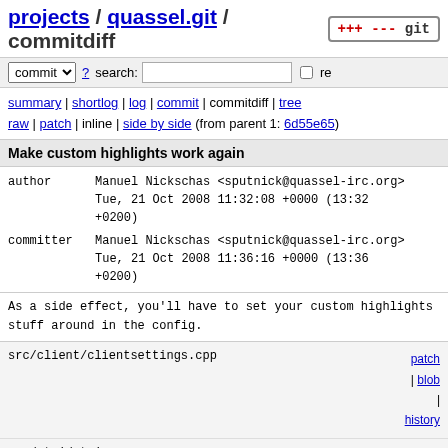projects / quassel.git / commitdiff
commit ▾ ? search: [ ] re
summary | shortlog | log | commit | commitdiff | tree
raw | patch | inline | side by side (from parent 1: 6d55e65)
Make custom highlights work again
| author | Manuel Nickschas <sputnick@quassel-irc.org> | Tue, 21 Oct 2008 11:32:08 +0000 (13:32 +0200) |
| committer | Manuel Nickschas <sputnick@quassel-irc.org> | Tue, 21 Oct 2008 11:36:16 +0000 (13:36 +0200) |
As a side effect, you'll have to set your custom highlights stuff around in the config.
| file | links |
| --- | --- |
| src/client/clientsettings.cpp | patch | blob | history |
| src/qtui/qtuimessageprocessor.cpp | patch | blob | history |
| src/qtui/settingspages/highlightsettingspage.cpp | patch |